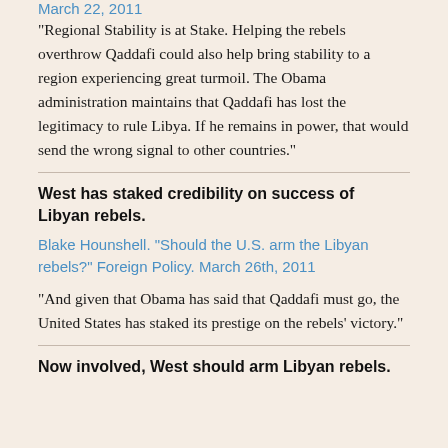March 22, 2011
“Regional Stability is at Stake. Helping the rebels overthrow Qaddafi could also help bring stability to a region experiencing great turmoil. The Obama administration maintains that Qaddafi has lost the legitimacy to rule Libya. If he remains in power, that would send the wrong signal to other countries.”
West has staked credibility on success of Libyan rebels.
Blake Hounshell. “Should the U.S. arm the Libyan rebels?” Foreign Policy. March 26th, 2011
“And given that Obama has said that Qaddafi must go, the United States has staked its prestige on the rebels’ victory.”
Now involved, West should arm Libyan rebels.